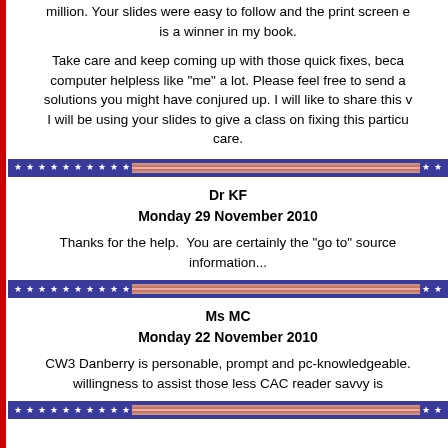million. Your slides were easy to follow and the print screen e is a winner in my book.
Take care and keep coming up with those quick fixes, beca computer helpless like "me" a lot. Please feel free to send a solutions you might have conjured up. I will like to share this v I will be using your slides to give a class on fixing this particu care.
[Figure (illustration): Decorative divider bar with blue background, white stars on left and right, and a red/white stripe in the middle]
Dr KF
Monday 29 November 2010
Thanks for the help.  You are certainly the "go to" source information...
[Figure (illustration): Decorative divider bar with blue background, white stars on left and right, and a red/white stripe in the middle]
Ms MC
Monday 22 November 2010
CW3 Danberry is personable, prompt and pc-knowledgeable. willingness to assist those less CAC reader savvy is
[Figure (illustration): Decorative divider bar with blue background, white stars on left and right, and a red/white stripe in the middle]